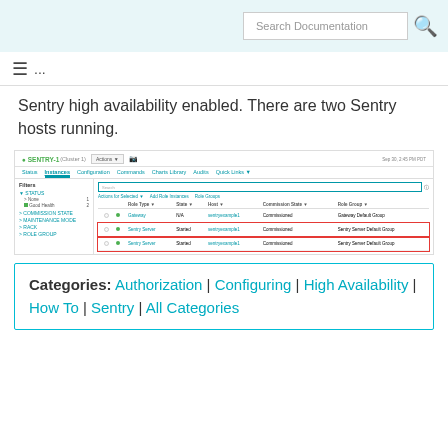Search Documentation
Sentry high availability enabled. There are two Sentry hosts running.
[Figure (screenshot): Screenshot of Cloudera Manager showing SENTRY-1 cluster with Instances tab open, displaying a table of role instances including two Sentry Server rows highlighted with a red border, both showing Started state, Commissioned state, and Sentry Server Default Group role group.]
Categories: Authorization | Configuring | High Availability | How To | Sentry | All Categories